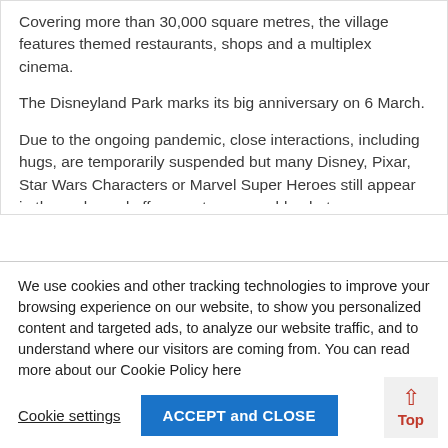Covering more than 30,000 square metres, the village features themed restaurants, shops and a multiplex cinema.
The Disneyland Park marks its big anniversary on 6 March.
Due to the ongoing pandemic, close interactions, including hugs, are temporarily suspended but many Disney, Pixar, Star Wars Characters or Marvel Super Heroes still appear in the parks and offer guests memorable photo opportunities
We use cookies and other tracking technologies to improve your browsing experience on our website, to show you personalized content and targeted ads, to analyze our website traffic, and to understand where our visitors are coming from. You can read more about our Cookie Policy here
Cookie settings
ACCEPT and CLOSE
Top